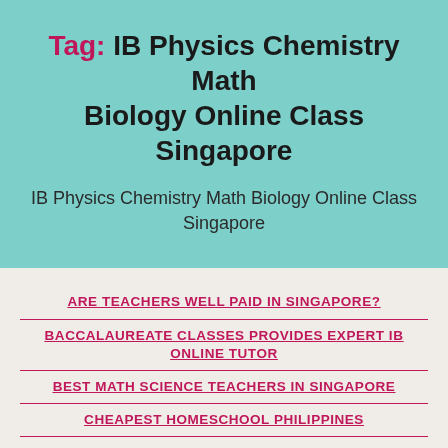Tag: IB Physics Chemistry Math Biology Online Class Singapore
IB Physics Chemistry Math Biology Online Class Singapore
ARE TEACHERS WELL PAID IN SINGAPORE?
BACCALAUREATE CLASSES PROVIDES EXPERT IB ONLINE TUTOR
BEST MATH SCIENCE TEACHERS IN SINGAPORE
CHEAPEST HOMESCHOOL PHILIPPINES
CHEMISTRY PHYSICS MATHS TUTOR SENTOSA SINGAPORE
CHEMISTRY PHYSICS TUTOR SENTOSA SINGAPORE
DELHI MCAT TUTOR TUITION TEACHER ONLINE